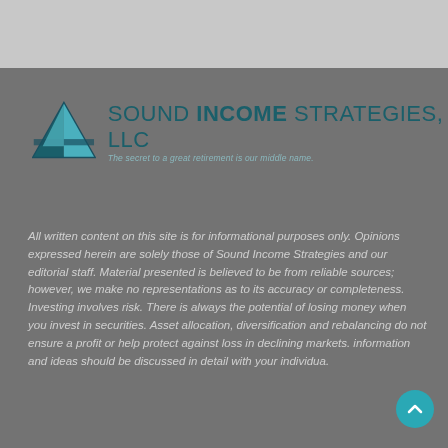[Figure (logo): Sound Income Strategies LLC logo with teal triangle pyramid icon and company name. Tagline: The secret to a great retirement is our middle name.]
All written content on this site is for informational purposes only. Opinions expressed herein are solely those of Sound Income Strategies and our editorial staff. Material presented is believed to be from reliable sources; however, we make no representations as to its accuracy or completeness. Investing involves risk. There is always the potential of losing money when you invest in securities. Asset allocation, diversification and rebalancing do not ensure a profit or help protect against loss in declining markets. information and ideas should be discussed in detail with your individua.